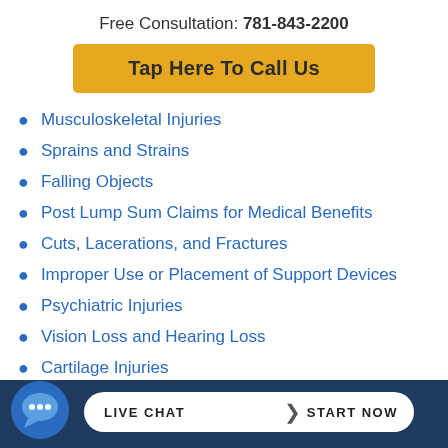Free Consultation: 781-843-2200
Tap Here To Call Us
Musculoskeletal Injuries
Sprains and Strains
Falling Objects
Post Lump Sum Claims for Medical Benefits
Cuts, Lacerations, and Fractures
Improper Use or Placement of Support Devices
Psychiatric Injuries
Vision Loss and Hearing Loss
Cartilage Injuries
Ca... Tu...
LIVE CHAT  START NOW